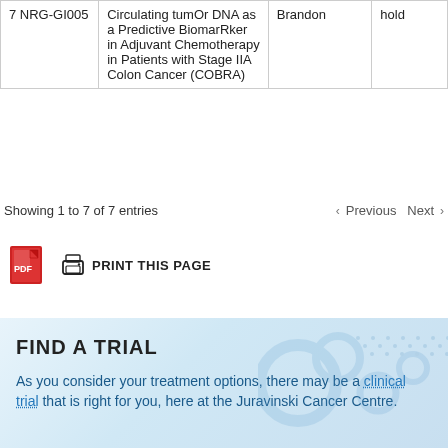|  | Title | Contact | Status |
| --- | --- | --- | --- |
| 7 NRG-GI005 | Circulating tumOr DNA as a Predictive BiomarRker in Adjuvant Chemotherapy in Patients with Stage IIA Colon Cancer (COBRA) | Brandon | hold |
Showing 1 to 7 of 7 entries
Previous  Next
PRINT THIS PAGE
FIND A TRIAL
As you consider your treatment options, there may be a clinical trial that is right for you, here at the Juravinski Cancer Centre.